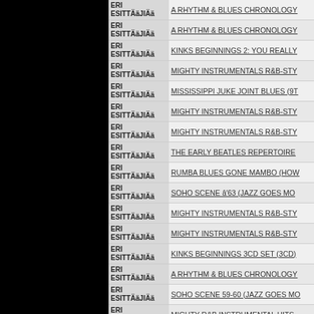| Artist | Title |
| --- | --- |
| ERI ESITTÄäJIÄä | A RHYTHM & BLUES CHRONOLOGY |
| ERI ESITTÄäJIÄä | A RHYTHM & BLUES CHRONOLOGY |
| ERI ESITTÄäJIÄä | KINKS BEGINNINGS 2: YOU REALLY |
| ERI ESITTÄäJIÄä | MIGHTY INSTRUMENTALS R&B-STY |
| ERI ESITTÄäJIÄä | MISSISSIPPI JUKE JOINT BLUES (9T |
| ERI ESITTÄäJIÄä | MIGHTY INSTRUMENTALS R&B-STY |
| ERI ESITTÄäJIÄä | MIGHTY INSTRUMENTALS R&B-STY |
| ERI ESITTÄäJIÄä | THE EARLY BEATLES REPERTOIRE |
| ERI ESITTÄäJIÄä | RUMBA BLUES GONE MAMBO (HOW |
| ERI ESITTÄäJIÄä | SOHO SCENE â63 (JAZZ GOES MO |
| ERI ESITTÄäJIÄä | MIGHTY INSTRUMENTALS R&B-STY |
| ERI ESITTÄäJIÄä | MIGHTY INSTRUMENTALS R&B-STY |
| ERI ESITTÄäJiÄä | KINKS BEGINNINGS 3CD SET (3CD) |
| ERI ESITTÄäJiÄä | A RHYTHM & BLUES CHRONOLOGY |
| ERI ESITTÄäJiÄä | SOHO SCENE 59-60 (JAZZ GOES MO |
| ERI ESITTÄäJiÄä | MIGHTY R&B INSTRUMENTAL HITS |
| ERI ESITTÄäJiÄä | NEW ORLEANS SOUL 1962-1966 (BO |
| ERI ESITTÄäJiÄä | MIGHTY INSTRUMENTALS R&B-STY |